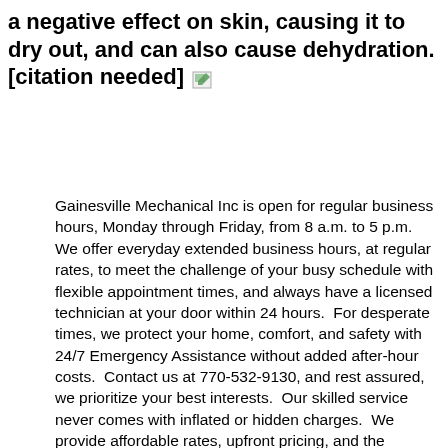a negative effect on skin, causing it to dry out, and can also cause dehydration.[citation needed]
Gainesville Mechanical Inc is open for regular business hours, Monday through Friday, from 8 a.m. to 5 p.m. We offer everyday extended business hours, at regular rates, to meet the challenge of your busy schedule with flexible appointment times, and always have a licensed technician at your door within 24 hours.  For desperate times, we protect your home, comfort, and safety with 24/7 Emergency Assistance without added after-hour costs.  Contact us at 770-532-9130, and rest assured, we prioritize your best interests.  Our skilled service never comes with inflated or hidden charges.  We provide affordable rates, upfront pricing, and the detailed information you need to make the best possible decisions.  We service all makes and models of cooling equipment, optimizing safety, efficiency, and reliability, to deliver superior,